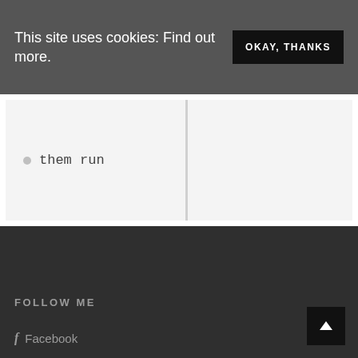This site uses cookies: Find out more.
OKAY, THANKS
them run
FOLLOW ME
Facebook